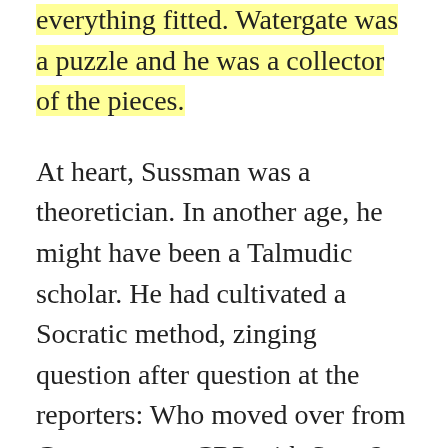everything fitted. Watergate was a puzzle and he was a collector of the pieces.
At heart, Sussman was a theoretician. In another age, he might have been a Talmudic scholar. He had cultivated a Socratic method, zinging question after question at the reporters: Who moved over from Commerce to CRP with Stans? What about Mitchell's secretary? Why won't anybody say when Liddy went to the White House or who worked with him there? Mitchell and Stans both ran the budget committee, right? What does that tell you? Then Sussman would puff on his pipe, a satisfied grin on his